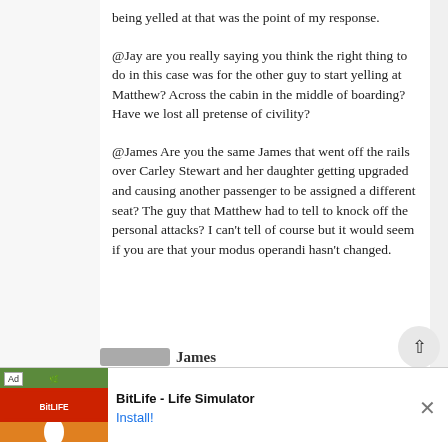being yelled at that was the point of my response.
@Jay are you really saying you think the right thing to do in this case was for the other guy to start yelling at Matthew? Across the cabin in the middle of boarding? Have we lost all pretense of civility?
@James Are you the same James that went off the rails over Carley Stewart and her daughter getting upgraded and causing another passenger to be assigned a different seat? The guy that Matthew had to tell to knock off the personal attacks? I can't tell of course but it would seem if you are that your modus operandi hasn't changed.
[Figure (screenshot): Ad banner for BitLife - Life Simulator app with install button]